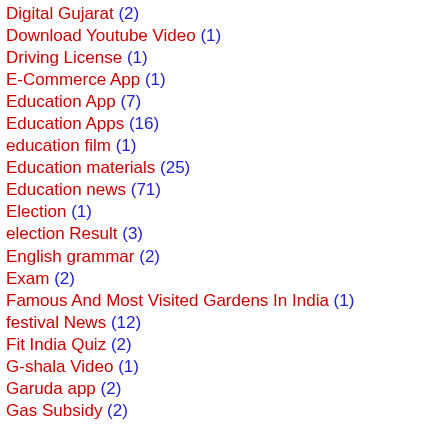Digital Gujarat (2)
Download Youtube Video (1)
Driving License (1)
E-Commerce App (1)
Education App (7)
Education Apps (16)
education film (1)
Education materials (25)
Education news (71)
Election (1)
election Result (3)
English grammar (2)
Exam (2)
Famous And Most Visited Gardens In India (1)
festival News (12)
Fit India Quiz (2)
G-shala Video (1)
Garuda app (2)
Gas Subsidy (2)